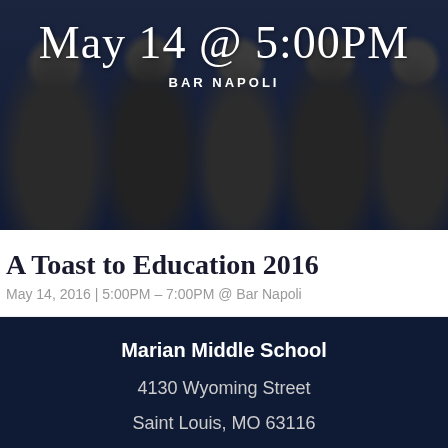[Figure (photo): Group photo of women at an event, dark overlay with event details overlaid]
May 14 @ 5:00PM
BAR NAPOLI
A Toast to Education 2016
May 14, 2016 | 5:00PM – 7:00PM @ Bar Napoli
Marian Middle School
4130 Wyoming Street
Saint Louis, MO 63116
Phone: 314.771.7674
Get Directions